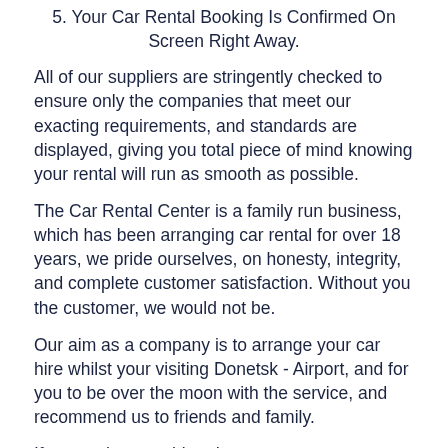5. Your Car Rental Booking Is Confirmed On Screen Right Away.
All of our suppliers are stringently checked to ensure only the companies that meet our exacting requirements, and standards are displayed, giving you total piece of mind knowing your rental will run as smooth as possible.
The Car Rental Center is a family run business, which has been arranging car rental for over 18 years, we pride ourselves, on honesty, integrity, and complete customer satisfaction. Without you the customer, we would not be.
Our aim as a company is to arrange your car hire whilst your visiting Donetsk - Airport, and for you to be over the moon with the service, and recommend us to friends and family.
If at any time anything does go wrong you are only